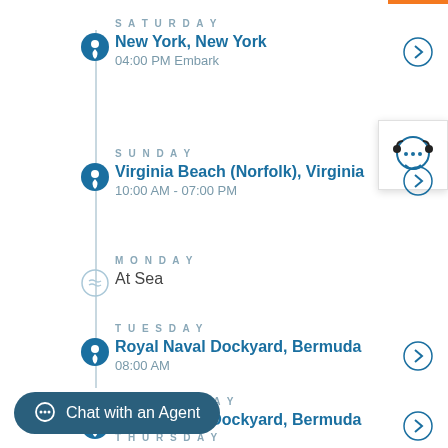SATURDAY — New York, New York — 04:00 PM Embark
SUNDAY — Virginia Beach (Norfolk), Virginia — 10:00 AM - 07:00 PM
MONDAY — At Sea
TUESDAY — Royal Naval Dockyard, Bermuda — 08:00 AM
WEDNESDAY — Royal Naval Dockyard, Bermuda
THURSDAY